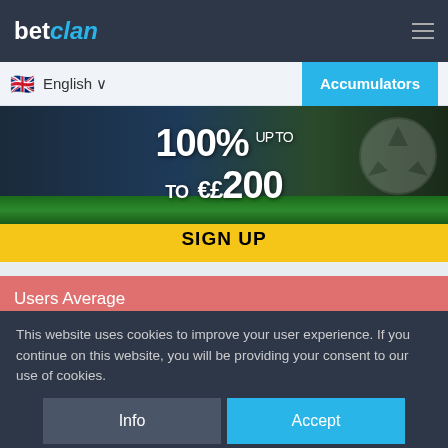betclan
English
Accumulators
[Figure (illustration): Sports betting promotional banner showing 100% up to €£200 sign-up bonus offer with a football/soccer ball on a grass field background]
SIGN UP
Users Average
Winner
IFK Norrköping
This website uses cookies to improve your user experience. If you continue on this website, you will be providing your consent to our use of cookies.
Info
Accept